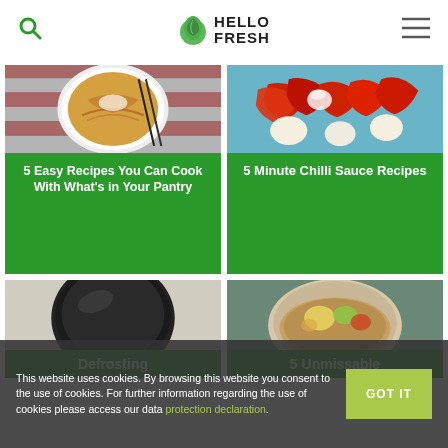HelloFresh
[Figure (photo): Spaghetti pasta dish in white bowl on striped cloth and dark grate background]
5 Easy Recipes You Can Cook With What's in Your Pantry
[Figure (photo): Red chilli peppers, garlic, salt and spices on blue background]
5 Minute Chilli Sauce Recipes
[Figure (photo): Dark circular object, possibly a cake pan or iron skillet, partial view]
Defrosting
[Figure (photo): Plate with flatbread, vegetables and mixed food items]
5 Unmissable
This website uses cookies. By browsing this website you consent to the use of cookies. For further information regarding the use of cookies please access our data protection declaration.